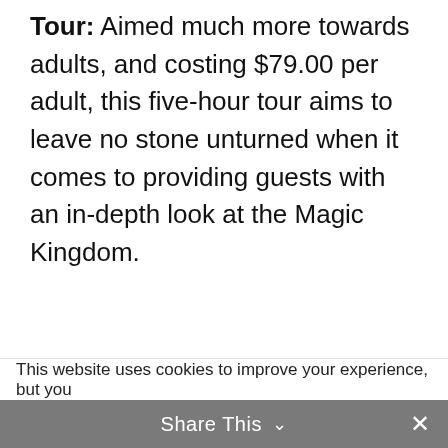Tour: Aimed much more towards adults, and costing $79.00 per adult, this five-hour tour aims to leave no stone unturned when it comes to providing guests with an in-depth look at the Magic Kingdom.
This website uses cookies to improve your experience, but you
Share This ∨  ✕